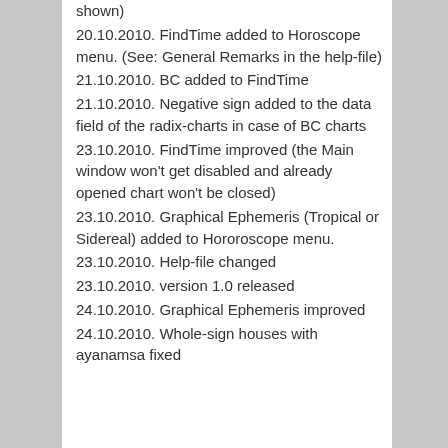shown)
20.10.2010. FindTime added to Horoscope menu. (See: General Remarks in the help-file)
21.10.2010. BC added to FindTime
21.10.2010. Negative sign added to the data field of the radix-charts in case of BC charts
23.10.2010. FindTime improved (the Main window won't get disabled and already opened chart won't be closed)
23.10.2010. Graphical Ephemeris (Tropical or Sidereal) added to Hororoscope menu.
23.10.2010. Help-file changed
23.10.2010. version 1.0 released
24.10.2010. Graphical Ephemeris improved
24.10.2010. Whole-sign houses with ayanamsa fixed